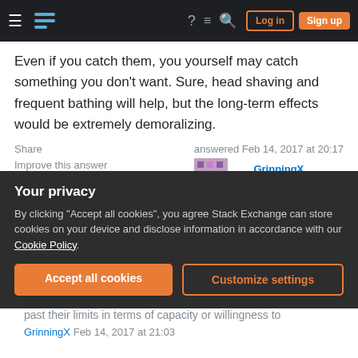Stack Exchange navigation bar with Log in and Sign up buttons
Even if you catch them, you yourself may catch something you don't want. Sure, head shaving and frequent bathing will help, but the long-term effects would be extremely demoralizing.
Share | Improve this answer | Follow | answered Feb 14, 2017 at 20:17 | GrinningX 8,081 ●23 ●32
keep in mind my target is the disabling of the comm and defense networks – James Feb 14, 2017 at 21:03
Your privacy — By clicking "Accept all cookies", you agree Stack Exchange can store cookies on your device and disclose information in accordance with our Cookie Policy.
Accept all cookies | Customize settings
past their limits in terms of capacity or willingness to